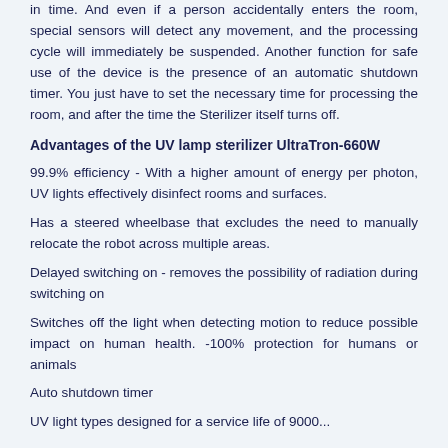in time. And even if a person accidentally enters the room, special sensors will detect any movement, and the processing cycle will immediately be suspended. Another function for safe use of the device is the presence of an automatic shutdown timer. You just have to set the necessary time for processing the room, and after the time the Sterilizer itself turns off.
Advantages of the UV lamp sterilizer UltraTron-660W
99.9% efficiency - With a higher amount of energy per photon, UV lights effectively disinfect rooms and surfaces.
Has a steered wheelbase that excludes the need to manually relocate the robot across multiple areas.
Delayed switching on - removes the possibility of radiation during switching on
Switches off the light when detecting motion to reduce possible impact on human health. -100% protection for humans or animals
Auto shutdown timer
UV light types designed for a service life of 9000...